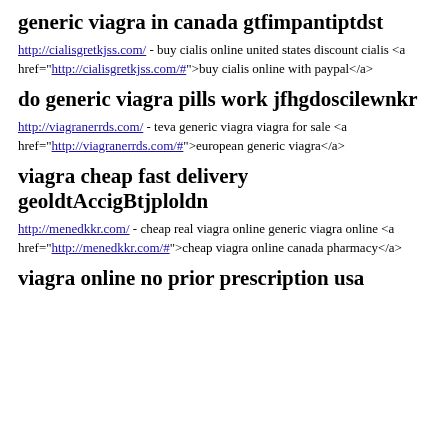generic viagra in canada gtfimpantiptdst
http://cialisgretkjss.com/ - buy cialis online united states discount cialis <a href="http://cialisgretkjss.com/#">buy cialis online with paypal</a>
do generic viagra pills work jfhgdoscilewnkr
http://viagranerrds.com/ - teva generic viagra viagra for sale <a href="http://viagranerrds.com/#">european generic viagra</a>
viagra cheap fast delivery geoldtAccigBtjploldn
http://menedkkr.com/ - cheap real viagra online generic viagra online <a href="http://menedkkr.com/#">cheap viagra online canada pharmacy</a>
viagra online no prior prescription usa